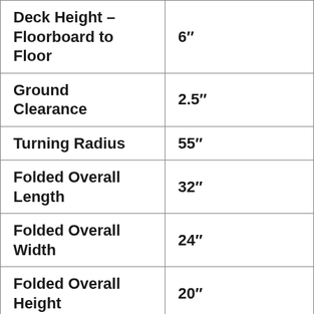| Specification | Value |
| --- | --- |
| Deck Height – Floorboard to Floor | 6" |
| Ground Clearance | 2.5" |
| Turning Radius | 55" |
| Folded Overall Length | 32" |
| Folded Overall Width | 24" |
| Folded Overall Height | 20" |
| Weight with... |  |